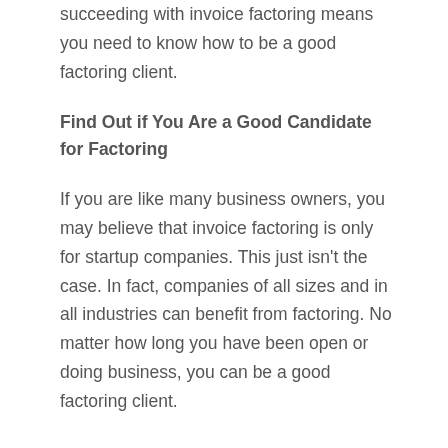succeeding with invoice factoring means you need to know how to be a good factoring client.
Find Out if You Are a Good Candidate for Factoring
If you are like many business owners, you may believe that invoice factoring is only for startup companies. This just isn't the case. In fact, companies of all sizes and in all industries can benefit from factoring. No matter how long you have been open or doing business, you can be a good factoring client.
Is your goal to maximize your cash flow? If so, you are a good candidate. Seasonal businesses